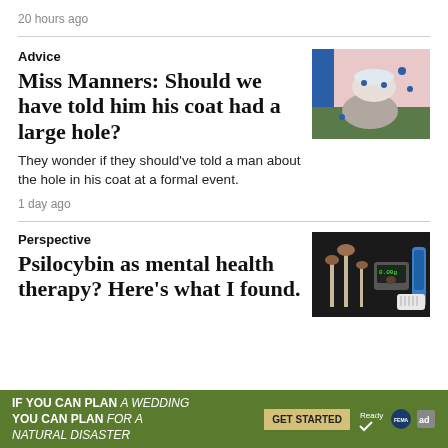20 hours ago
Advice
Miss Manners: Should we have told him his coat had a large hole?
[Figure (photo): Illustration of a hand holding a teacup with blue dots, pink background with a blue vertical stripe]
They wonder if they should've told a man about the hole in his coat at a formal event.
1 day ago
Perspective
Psilocybin as mental health therapy? Here's what I found.
[Figure (photo): Photo of mushrooms, a digital scale, and a test kit on a dark background]
IF YOU CAN PLAN A WEDDING YOU CAN PLAN FOR A NATURAL DISASTER  GET STARTED  Ready  FEMA  ad